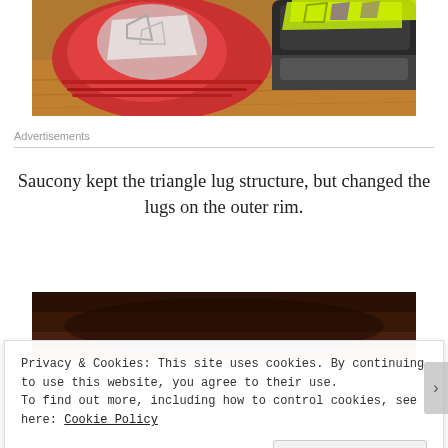[Figure (photo): Top view of two running shoes (one red/white, one yellow-green/dark) on a wooden surface, cropped to show soles/heels]
Advertisements
Saucony kept the triangle lug structure, but changed the lugs on the outer rim.
[Figure (photo): Partial view of a shoe sole close-up, dark tones with orange at bottom, partially obscured by cookie notice]
Privacy & Cookies: This site uses cookies. By continuing to use this website, you agree to their use.
To find out more, including how to control cookies, see here: Cookie Policy
Close and accept